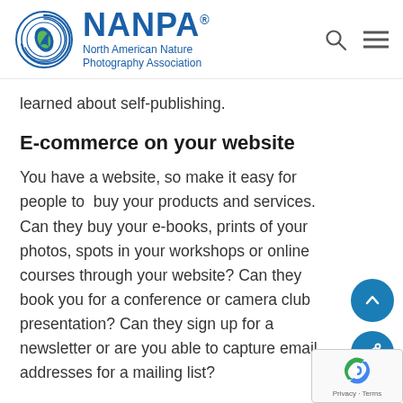NANPA® North American Nature Photography Association
learned about self-publishing.
E-commerce on your website
You have a website, so make it easy for people to  buy your products and services. Can they buy your e-books, prints of your photos, spots in your workshops or online courses through your website? Can they book you for a conference or camera club presentation? Can they sign up for a newsletter or are you able to capture email addresses for a mailing list?
Podcasts